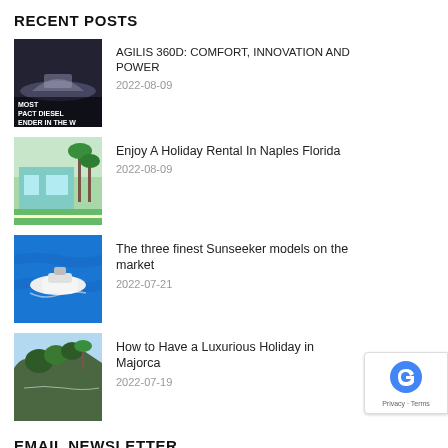RECENT POSTS
AGILIS 360D: COMFORT, INNOVATION AND POWER
2022-08-09
Enjoy A Holiday Rental In Naples Florida
2022-08-09
The three finest Sunseeker models on the market
2022-07-21
How to Have a Luxurious Holiday in Majorca
2022-07-19
EMAIL NEWSLETTER